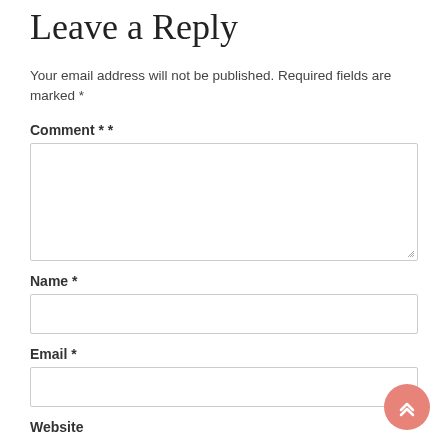Leave a Reply
Your email address will not be published. Required fields are marked *
Comment * *
[Figure (other): Comment text area input box, empty, with resize handle at bottom-right]
Name *
[Figure (other): Name text input box, empty, single line]
Email *
[Figure (other): Email text input box, empty, single line, with scroll-to-top button overlaid at bottom-right]
Website